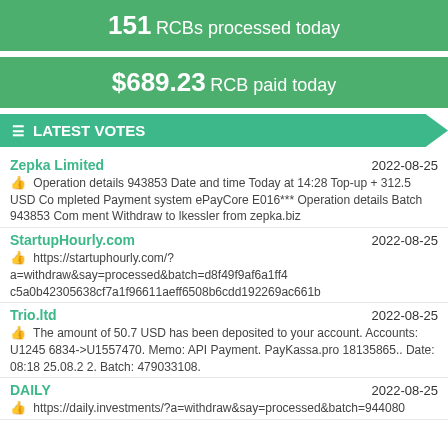151 RCBs processed today
$689.23 RCB paid today
LATEST VOTES
Zepka Limited — 2022-08-25
Operation details 943853 Date and time Today at 14:28 Top-up + 312.5 USD Completed Payment system ePayCore E016*** Operation details Batch 943853 Comment Withdraw to lkessler from zepka.biz
StartupHourly.com — 2022-08-25
https://startuphourly.com/?a=withdraw&say=processed&batch=d8f49f9af6a1ff4c5a0b42305638cf7a1f96611aeff6508b6cdd192269ac661b
Trio.ltd — 2022-08-25
The amount of 50.7 USD has been deposited to your account. Accounts: U12456834->U1557470. Memo: API Payment. PayKassa.pro 18135865.. Date: 08:18 25.08.22. Batch: 479033108.
DAILY — 2022-08-25
https://daily.investments/?a=withdraw&say=processed&batch=944080